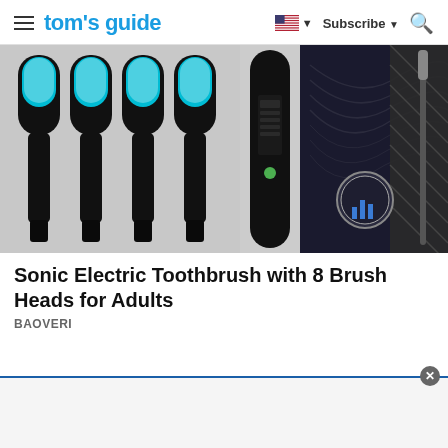tom's guide | Subscribe
[Figure (photo): Product photo of Sonic Electric Toothbrush with 8 Brush Heads for Adults by BAOVERI — showing multiple black toothbrush heads with teal/green bristles, a black toothbrush handle, and the product box packaging]
Sonic Electric Toothbrush with 8 Brush Heads for Adults
BAOVERI